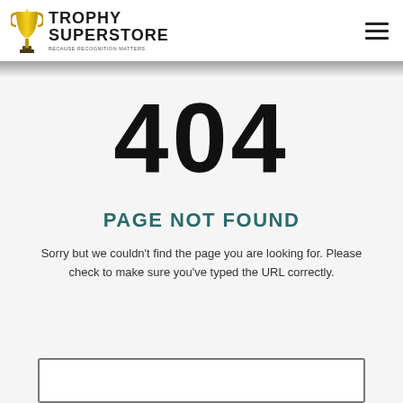Trophy Superstore — BECAUSE RECOGNITION MATTERS
404
PAGE NOT FOUND
Sorry but we couldn't find the page you are looking for. Please check to make sure you've typed the URL correctly.
[Figure (other): Partial view of a white input/search box with rounded border at the bottom of the page]